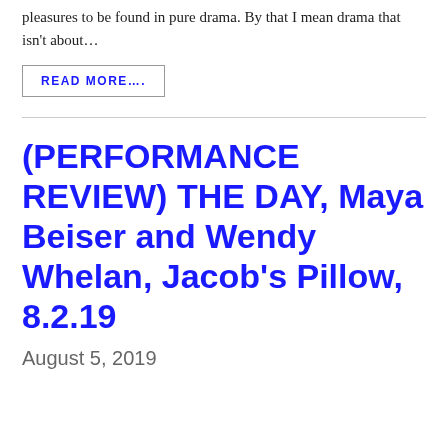pleasures to be found in pure drama. By that I mean drama that isn't about…
READ MORE….
(PERFORMANCE REVIEW) THE DAY, Maya Beiser and Wendy Whelan, Jacob's Pillow, 8.2.19
August 5, 2019